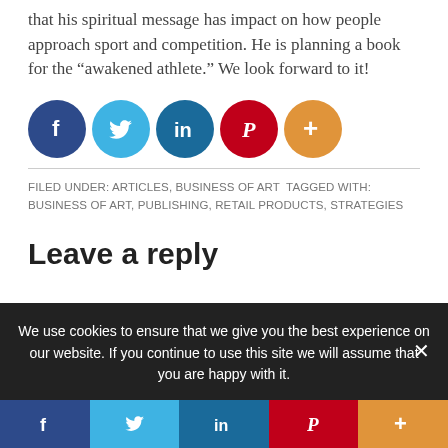that his spiritual message has impact on how people approach sport and competition. He is planning a book for the “awakened athlete.” We look forward to it!
[Figure (infographic): Row of five social share circular icon buttons: Facebook (dark blue), Twitter (light blue), LinkedIn (teal blue), Pinterest (red), More/plus (orange)]
FILED UNDER: ARTICLES, BUSINESS OF ART TAGGED WITH: BUSINESS OF ART, PUBLISHING, RETAIL PRODUCTS, STRATEGIES
Leave a reply
We use cookies to ensure that we give you the best experience on our website. If you continue to use this site we will assume that you are happy with it.
[Figure (infographic): Bottom navigation bar with five social share buttons: Facebook (dark blue), Twitter (light blue), LinkedIn (teal blue), Pinterest (red), More/plus (orange)]